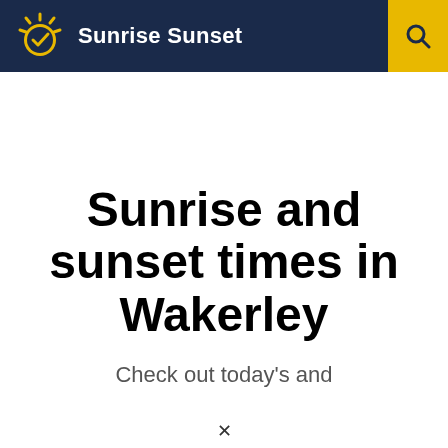Sunrise Sunset
Sunrise and sunset times in Wakerley
Check out today's and